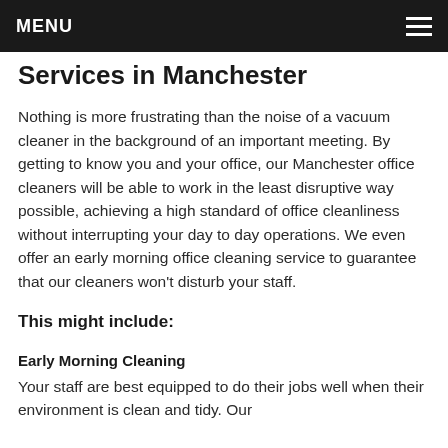MENU
Services in Manchester
Nothing is more frustrating than the noise of a vacuum cleaner in the background of an important meeting. By getting to know you and your office, our Manchester office cleaners will be able to work in the least disruptive way possible, achieving a high standard of office cleanliness without interrupting your day to day operations. We even offer an early morning office cleaning service to guarantee that our cleaners won't disturb your staff.
This might include:
Early Morning Cleaning
Your staff are best equipped to do their jobs well when their environment is clean and tidy. Our